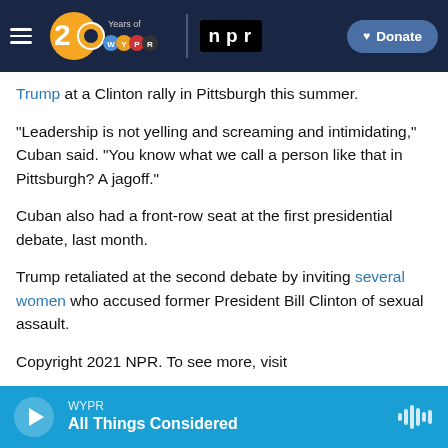WYPR 20 Years of WYPR | NPR | Donate
Trump at a Clinton rally in Pittsburgh this summer.
"Leadership is not yelling and screaming and intimidating," Cuban said. "You know what we call a person like that in Pittsburgh? A jagoff."
Cuban also had a front-row seat at the first presidential debate, last month.
Trump retaliated at the second debate by inviting several women who accused former President Bill Clinton of sexual assault.
Copyright 2021 NPR. To see more, visit
WYPR All Things Considered